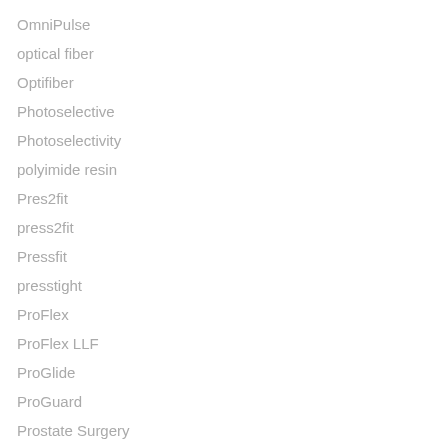OmniPulse
optical fiber
Optifiber
Photoselective
Photoselectivity
polyimide resin
Pres2fit
press2fit
Pressfit
presstight
ProFlex
ProFlex LLF
ProGlide
ProGuard
Prostate Surgery